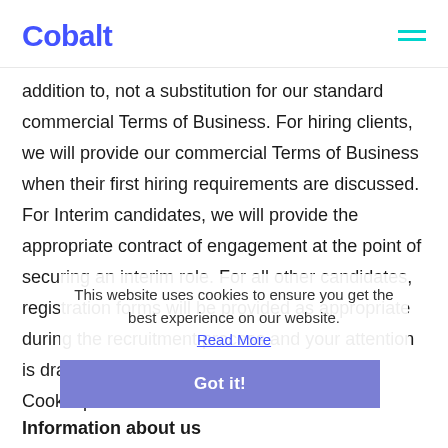Cobalt
addition to, not a substitution for our standard commercial Terms of Business. For hiring clients, we will provide our commercial Terms of Business when their first hiring requirements are discussed. For Interim candidates, we will provide the appropriate contract of engagement at the point of securing an interim role. For all other candidates, registration forms will be provided as appropriate during the recruitment process and your attention is drawn to the relevant Privacy Notices and Cookie policies.
This website uses cookies to ensure you get the best experience on our website.
Read More
Got it!
Information about us